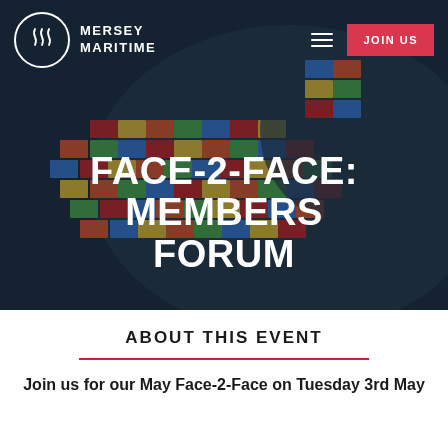[Figure (photo): Aerial view of a large container ship loaded with colorful shipping containers, viewed from above against dark water. Navigation bar overlaid with Mersey Maritime logo, hamburger menu, and JOIN US button.]
FACE-2-FACE: MEMBERS FORUM
ABOUT THIS EVENT
Join us for our May Face-2-Face on Tuesday 3rd May